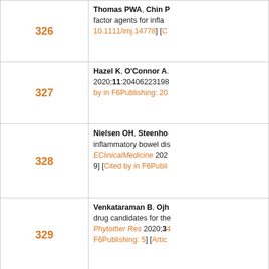| Number | Reference |
| --- | --- |
| 326 | Thomas PWA, Chin P... factor agents for infla... 10.1111/imj.14778] [C... |
| 327 | Hazel K, O'Connor A... 2020;11:20406223198... by in F6Publishing: 20... |
| 328 | Nielsen OH, Steenho... inflammatory bowel dis... EClinicalMedicine 202... 9] [Cited by in F6Publi... |
| 329 | Venkataraman B, Ojh... drug candidates for the... Phytother Res 2020;34... F6Publishing: 5] [Artic... |
| 330 | Mizuno S, Ono K, Mi... Hirahara N, Miyata H... adverse clinical outco... 32013315 DOI: 10.521... 3.0] [Reference Citatio... |
| 331 | Bernardo S, Fernand... of Disease in Hospitali... 30085135 DOI: 10.109... 4.5] [Reference Citati... |